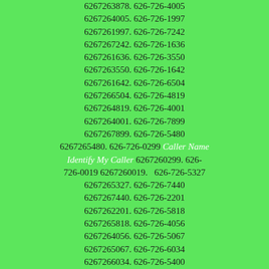6267263878. 626-726-4005 6267264005. 626-726-1997 6267261997. 626-726-7242 6267267242. 626-726-1636 6267261636. 626-726-3550 6267263550. 626-726-1642 6267261642. 626-726-6504 6267266504. 626-726-4819 6267264819. 626-726-4001 6267264001. 626-726-7899 6267267899. 626-726-5480 6267265480. 626-726-0299 Caller Name Identify My Caller 6267260299. 626-726-0019 6267260019. 626-726-5327 6267265327. 626-726-7440 6267267440. 626-726-2201 6267262201. 626-726-5818 6267265818. 626-726-4056 6267264056. 626-726-5067 6267265067. 626-726-6034 6267266034. 626-726-5400 6267265400. 626-726-1840 6267261840. 626-726-8640 6267268640. 626-726-6847 6267266847. 626-726-6343 6267266343. 626-726-8716